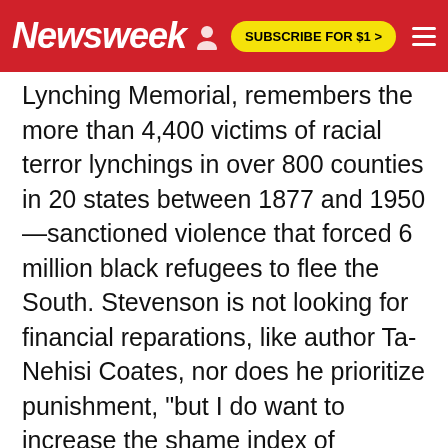Newsweek | SUBSCRIBE FOR $1 >
Lynching Memorial, remembers the more than 4,400 victims of racial terror lynchings in over 800 counties in 20 states between 1877 and 1950—sanctioned violence that forced 6 million black refugees to flee the South. Stevenson is not looking for financial reparations, like author Ta-Nehisi Coates, nor does he prioritize punishment, "but I do want to increase the shame index of America."
The memorial is a deeply moving step in that direction. But it also provides a bold bid for